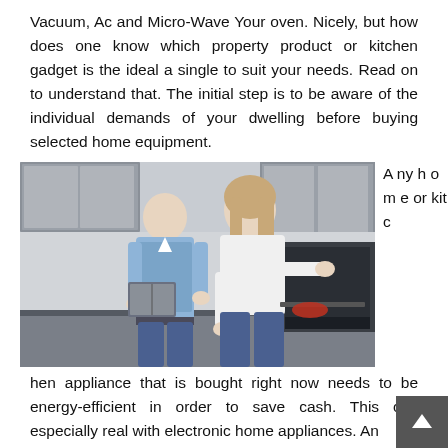Vacuum, Ac and Micro-Wave Your oven. Nicely, but how does one know which property product or kitchen gadget is the ideal a single to suit your needs. Read on to understand that. The initial step is to be aware of the individual demands of your dwelling before buying selected home equipment.
[Figure (photo): A man and woman in a modern kitchen. The man holds a booklet and the woman leans over to open a dark oven or appliance drawer. Modern grey cabinetry in background.]
Any home or kitchen appliance that is bought right now needs to be energy-efficient in order to save cash. This can especially real with electronic home appliances. An